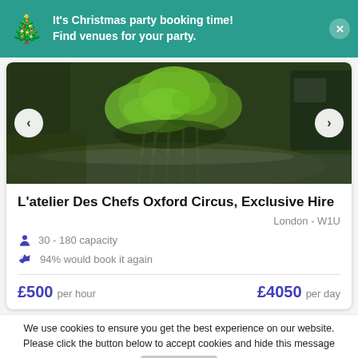It's Christmas party booking time! Find venues for your party.
[Figure (photo): Close-up photo of fresh green herbs (parsley/coriander) on a kitchen counter with blurred kitchen equipment in background]
L'atelier Des Chefs Oxford Circus, Exclusive Hire
London - W1U
30 - 180 capacity
94% would book it again
£500 per hour   £4050 per day
We use cookies to ensure you get the best experience on our website. Please click the button below to accept cookies and hide this message
Accept